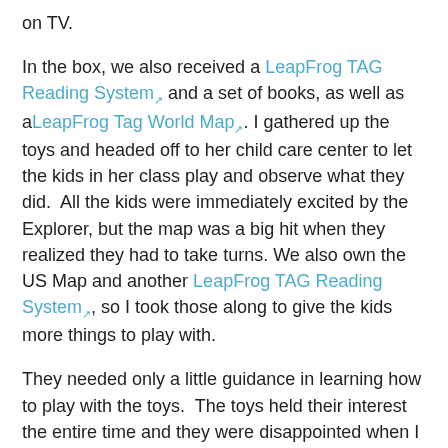on TV.
In the box, we also received a LeapFrog TAG Reading System and a set of books, as well as a LeapFrog Tag World Map . I gathered up the toys and headed off to her child care center to let the kids in her class play and observe what they did.  All the kids were immediately excited by the Explorer, but the map was a big hit when they realized they had to take turns. We also own the US Map and another LeapFrog TAG Reading System , so I took those along to give the kids more things to play with.
They needed only a little guidance in learning how to play with the toys.  The toys held their interest the entire time and they were disappointed when I had to pack up and leave.  It was a definite success. I have always recommended LeapFrog toys, and I am amazed at how well they continue providing high quality, educational toys that kids truly enjoy.
If you're looking for toys this holiday season for the preschool / early elementary kids, I can't recommend LeapFrog toys highly enough.